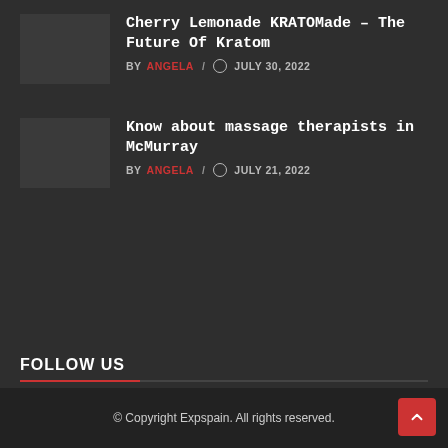Cherry Lemonade KRATOMade – The Future Of Kratom
BY ANGELA / JULY 30, 2022
Know about massage therapists in McMurray
BY ANGELA / JULY 21, 2022
FOLLOW US
[Figure (infographic): Social media icons: Facebook (blue), Twitter (teal), Google+ (red), Instagram (steel blue)]
© Copyright Expspain. All rights reserved.